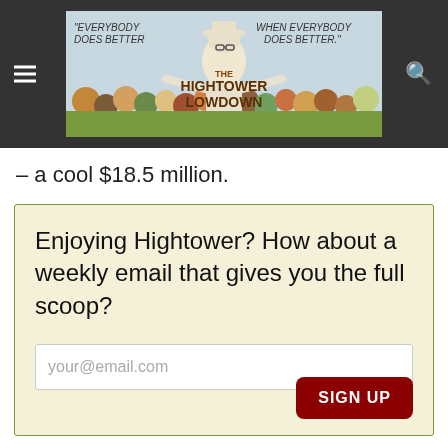[Figure (logo): The Hightower Lowdown website header banner with illustration of Jim Hightower among a crowd, with text 'EVERYBODY DOES BETTER WHEN EVERYBODY DOES BETTER' and 'THE HIGHTOWER LOWDOWN']
– a cool $18.5 million.
Enjoying Hightower? How about a weekly email that gives you the full scoop?